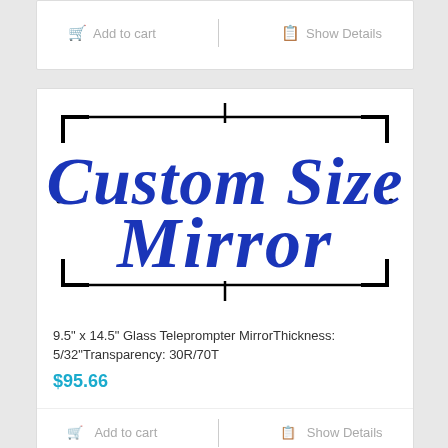[Figure (screenshot): Partial e-commerce card at top showing Add to cart and Show Details buttons in gray]
[Figure (illustration): Custom Size Mirror product image with bold blue italic text 'Custom Size Mirror' on white background with black corner and edge registration marks]
9.5" x 14.5" Glass Teleprompter MirrorThickness: 5/32"Transparency: 30R/70T
$95.66
Add to cart
Show Details